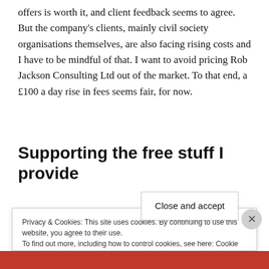offers is worth it, and client feedback seems to agree. But the company's clients, mainly civil society organisations themselves, are also facing rising costs and I have to be mindful of that. I want to avoid pricing Rob Jackson Consulting Ltd out of the market. To that end, a £100 a day rise in fees seems fair, for now.
Supporting the free stuff I provide
Privacy & Cookies: This site uses cookies. By continuing to use this website, you agree to their use. To find out more, including how to control cookies, see here: Cookie Policy
Close and accept